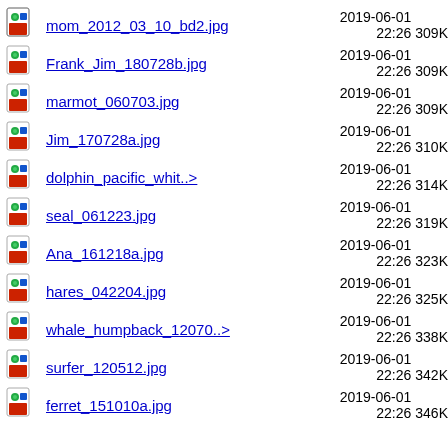mom_2012_03_10_bd2.jpg  2019-06-01 22:26  309K
Frank_Jim_180728b.jpg  2019-06-01 22:26  309K
marmot_060703.jpg  2019-06-01 22:26  309K
Jim_170728a.jpg  2019-06-01 22:26  310K
dolphin_pacific_whit..>  2019-06-01 22:26  314K
seal_061223.jpg  2019-06-01 22:26  319K
Ana_161218a.jpg  2019-06-01 22:26  323K
hares_042204.jpg  2019-06-01 22:26  325K
whale_humpback_12070..>  2019-06-01 22:26  338K
surfer_120512.jpg  2019-06-01 22:26  342K
ferret_151010a.jpg  2019-06-01 22:26  346K